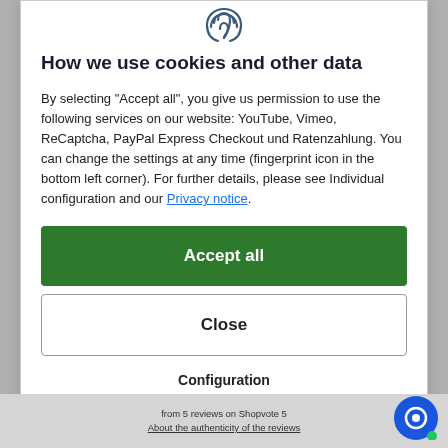[Figure (illustration): Fingerprint icon at the top center of the cookie consent modal]
How we use cookies and other data
By selecting "Accept all", you give us permission to use the following services on our website: YouTube, Vimeo, ReCaptcha, PayPal Express Checkout und Ratenzahlung. You can change the settings at any time (fingerprint icon in the bottom left corner). For further details, please see Individual configuration and our Privacy notice.
Accept all
Close
Configuration
from 5 reviews on Shopvote 5 About the authenticity of the reviews